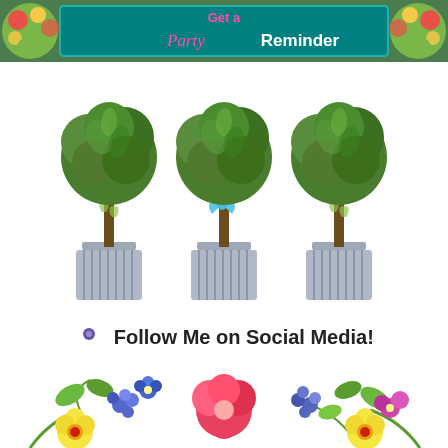[Figure (illustration): Decorative header banner with floral pattern background and teal rectangle containing text 'Get a Party Reminder' in pink and white lettering]
[Figure (illustration): Three decorative topiary trees in striped grey pots arranged side by side. The middle topiary has a light blue bow/ribbon tied around its trunk.]
Follow Me on Social Media!
[Figure (illustration): Decorative watercolor floral border at the bottom with yellow, pink, red, blue/purple flowers and green leaves]